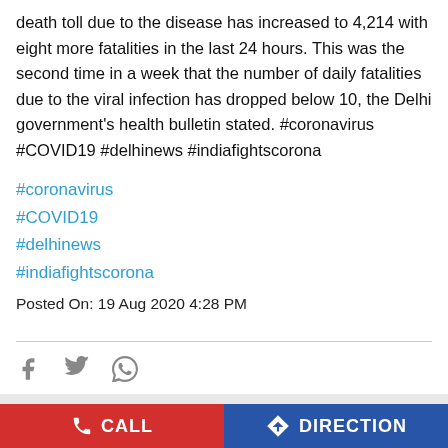death toll due to the disease has increased to 4,214 with eight more fatalities in the last 24 hours. This was the second time in a week that the number of daily fatalities due to the viral infection has dropped below 10, the Delhi government's health bulletin stated. #coronavirus #COVID19 #delhinews #indiafightscorona
#coronavirus
#COVID19
#delhinews
#indiafightscorona
Posted On: 19 Aug 2020 4:28 PM
A 30-year-old #Delhi resident, on Friday, was given the first dose of undertrial #coronavirus vaccine #Covaxin at Delhi's All India Institute Of
CALL
DIRECTION